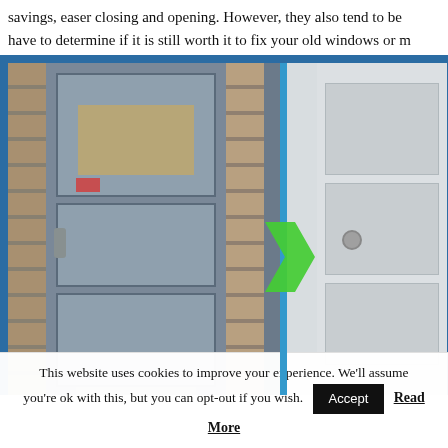savings, easer closing and opening. However, they also tend to be have to determine if it is still worth it to fix your old windows or m
[Figure (photo): Comparison photo of an old worn door on the left side and a new white door on the right side, separated by a blue vertical line with a green arrow pointing right, indicating door replacement.]
This website uses cookies to improve your experience. We'll assume you're ok with this, but you can opt-out if you wish. Accept Read More